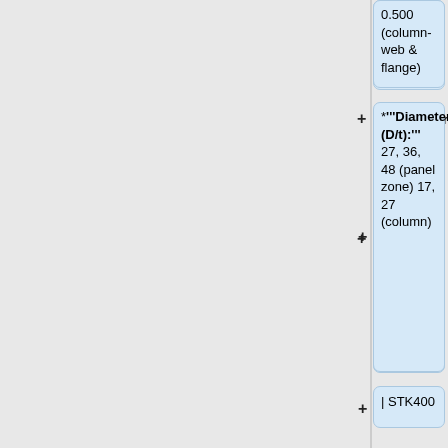0.500 (column-web & flange)
*'''Diameter/thickness (D/t):''' 27, 36, 48 (panel zone) 17, 27 (column)
| STK400
Fy = 48.4, 52.6 ksi (annealed) 54.07-56.92 ksi (cold-formed)
| f'c = 3.37, 3.56 ksi
|-
|-
! scope="row" style="backgroun
! scope="row" style="backgroun